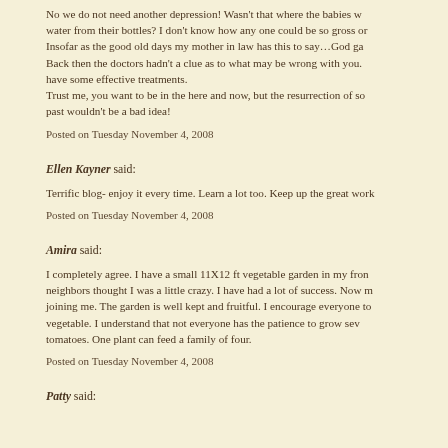No we do not need another depression! Wasn't that where the babies w… water from their bottles? I don't know how any one could be so gross or… Insofar as the good old days my mother in law has this to say…God ga… Back then the doctors hadn't a clue as to what may be wrong with you. … have some effective treatments. Trust me, you want to be in the here and now, but the resurrection of so… past wouldn't be a bad idea!
Posted on Tuesday November 4, 2008
Ellen Kayner said:
Terrific blog- enjoy it every time. Learn a lot too. Keep up the great work…
Posted on Tuesday November 4, 2008
Amira said:
I completely agree. I have a small 11X12 ft vegetable garden in my fron… neighbors thought I was a little crazy. I have had a lot of success. Now m… joining me. The garden is well kept and fruitful. I encourage everyone to… vegetable. I understand that not everyone has the patience to grow sev… tomatoes. One plant can feed a family of four.
Posted on Tuesday November 4, 2008
Patty said: